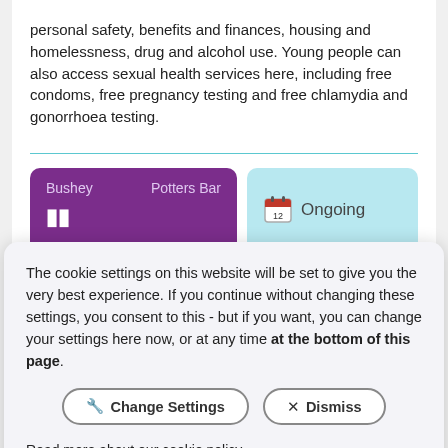personal safety, benefits and finances, housing and homelessness, drug and alcohol use. Young people can also access sexual health services here, including free condoms, free pregnancy testing and free chlamydia and gonorrhoea testing.
[Figure (screenshot): Two UI cards: a purple card showing locations 'Bushey' and 'Potters Bar', and a light blue card with a calendar icon and the text 'Ongoing']
The cookie settings on this website will be set to give you the very best experience. If you continue without changing these settings, you consent to this - but if you want, you can change your settings here now, or at any time at the bottom of this page.
Change Settings | Dismiss
Read more about our cookie policy